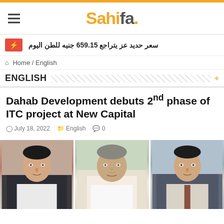Sahifa.
سعر حديد عز يتراجع 659.15 جنيه للطن اليوم
Home / English
ENGLISH
Dahab Development debuts 2nd phase of ITC project at New Capital
July 18, 2022  English  0
[Figure (photo): Three men photographed side by side: a man in a dark suit on the left, an elderly man in a white shirt seated in the center, and a man in a gray suit with a tie on the right.]